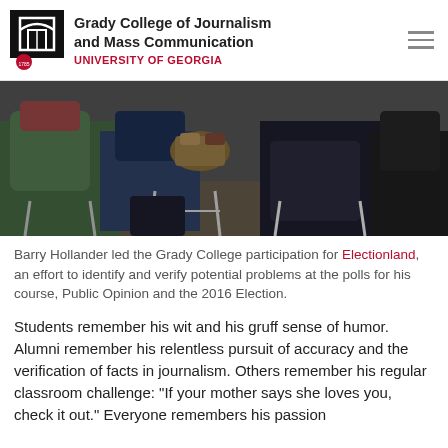Grady College of Journalism and Mass Communication — UNIVERSITY OF GEORGIA
[Figure (photo): Students seated in classroom chairs viewed from above, with backpacks and casual clothing visible]
Barry Hollander led the Grady College participation for Electionland, an effort to identify and verify potential problems at the polls for his course, Public Opinion and the 2016 Election.
Students remember his wit and his gruff sense of humor. Alumni remember his relentless pursuit of accuracy and the verification of facts in journalism. Others remember his regular classroom challenge: "If your mother says she loves you, check it out." Everyone remembers his passion